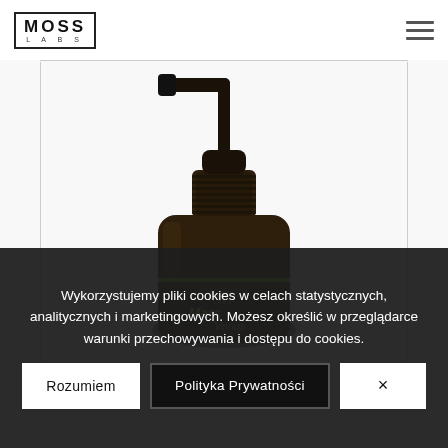MOSS LABS
[Figure (photo): A dark amber pump dispenser bottle with a black pump top, labeled MOSS LABS Mars Venus, photographed against a white background.]
Wykorzystujemy pliki cookies w celach statystycznych, analitycznych i marketingowych. Możesz określić w przeglądarce warunki przechowywania i dostępu do cookies.
Rozumiem | Polityka Prywatności | ×